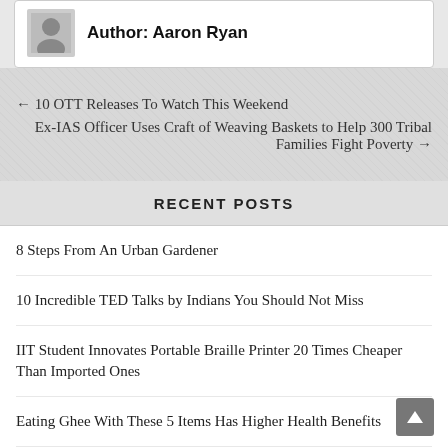Author: Aaron Ryan
← 10 OTT Releases To Watch This Weekend
Ex-IAS Officer Uses Craft of Weaving Baskets to Help 300 Tribal Families Fight Poverty →
RECENT POSTS
8 Steps From An Urban Gardener
10 Incredible TED Talks by Indians You Should Not Miss
IIT Student Innovates Portable Braille Printer 20 Times Cheaper Than Imported Ones
Eating Ghee With These 5 Items Has Higher Health Benefits
Suniel Shetty's Productivity Hacks Go Viral on LinkedIn